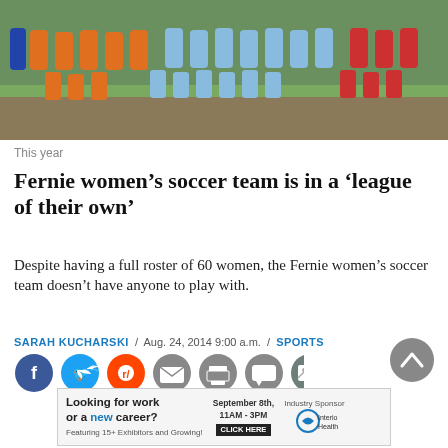[Figure (photo): Group photo of women's soccer teams on a grass field. Players wearing orange, light blue, and red jerseys posing together in two rows.]
This year
Fernie women’s soccer team is in a ‘league of their own’
Despite having a full roster of 60 women, the Fernie women’s soccer team doesn’t have anyone to play with.
SARAH KUCHARSKI / Aug. 24, 2014 9:00 a.m. / SPORTS
[Figure (infographic): Social sharing buttons: Facebook, Twitter, Reddit, Email, Print, Comment, Image]
[Figure (infographic): Advertisement banner: Looking for work or a new career? September 8th, 11AM-3PM. Featuring 15+ Exhibitors and Growing! CLICK HERE. Industry Sponsor: Interior Health]